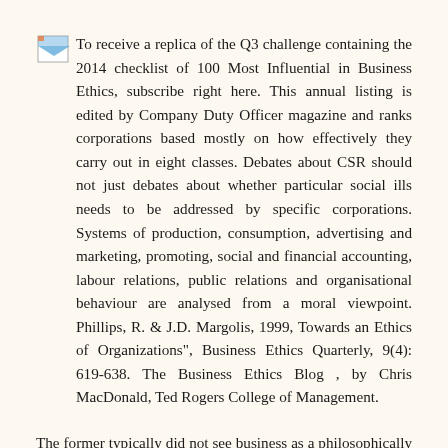To receive a replica of the Q3 challenge containing the 2014 checklist of 100 Most Influential in Business Ethics, subscribe right here. This annual listing is edited by Company Duty Officer magazine and ranks corporations based mostly on how effectively they carry out in eight classes. Debates about CSR should not just debates about whether particular social ills needs to be addressed by specific corporations. Systems of production, consumption, advertising and marketing, promoting, social and financial accounting, labour relations, public relations and organisational behaviour are analysed from a moral viewpoint. Phillips, R. & J.D. Margolis, 1999, Towards an Ethics of Organizations", Business Ethics Quarterly, 9(4): 619-638. The Business Ethics Blog , by Chris MacDonald, Ted Rogers College of Management.
The former typically did not see business as a philosophically interesting endeavor, and plenty of of them had an anti-business thoughts-set. The Standards of Business Conduct